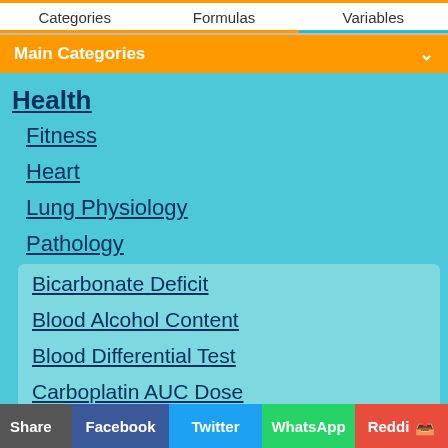Categories | Formulas | Variables
Main Categories
Health
Fitness
Heart
Lung Physiology
Pathology
Bicarbonate Deficit
Blood Alcohol Content
Blood Differential Test
Carboplatin AUC Dose
Glomerular Filtration Rate (GFR)
Insulin Level
Share | Facebook | Twitter | WhatsApp | Reddit